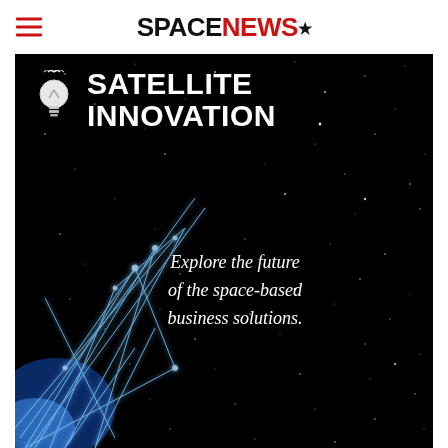SPACENEWS
[Figure (illustration): Satellite Innovation promotional banner: dark space/starfield background with a lightbulb icon featuring satellite signal waves, bold white text reading SATELLITE INNOVATION, italic white text reading Explore the future of the space-based business solutions., and a blue geometric network graphic in the lower left.]
SATELLITE INNOVATION
Explore the future of the space-based business solutions.